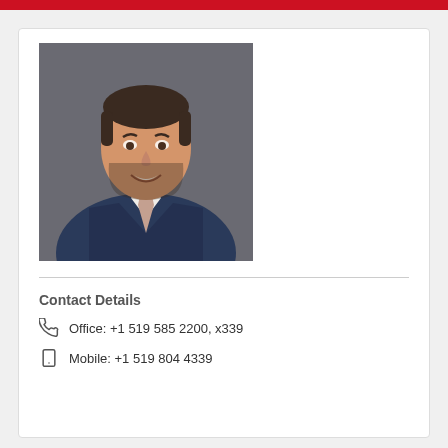[Figure (photo): Professional headshot of a man smiling, wearing a navy plaid suit jacket with a light pink tie, dark hair, grey background]
Contact Details
Office: +1 519 585 2200, x339
Mobile: +1 519 804 4339